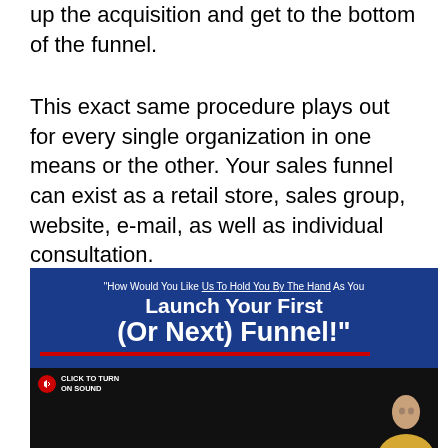up the acquisition and get to the bottom of the funnel.
This exact same procedure plays out for every single organization in one means or the other. Your sales funnel can exist as a retail store, sales group, website, e-mail, as well as individual consultation.
[Figure (screenshot): Video thumbnail with blue banner reading 'How Would You Like Us To Hold You By The Hand As You Launch Your First (Or Next) Funnel!' with a red underline, a sound button, and a person visible in the lower right against a dark background.]